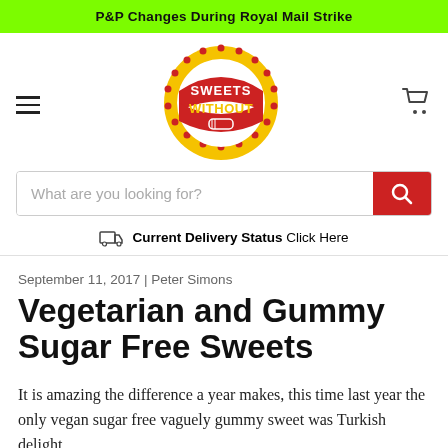P&P Changes During Royal Mail Strike
[Figure (logo): Sweets Without circular logo with red and yellow design]
What are you looking for?
Current Delivery Status Click Here
September 11, 2017 | Peter Simons
Vegetarian and Gummy Sugar Free Sweets
It is amazing the difference a year makes, this time last year the only vegan sugar free vaguely gummy sweet was Turkish delight,